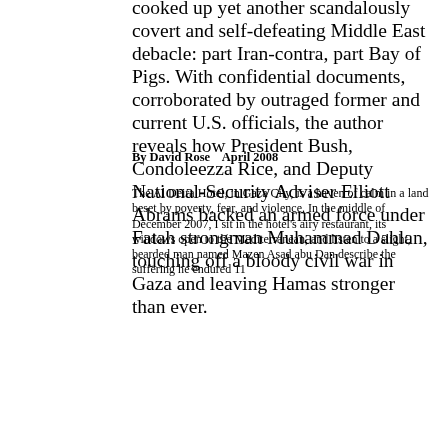cooked up yet another scandalously covert and self-defeating Middle East debacle: part Iran-contra, part Bay of Pigs. With confidential documents, corroborated by outraged former and current U.S. officials, the author reveals how President Bush, Condoleezza Rice, and Deputy National-Security Adviser Elliott Abrams backed an armed force under Fatah strongman Muhammad Dahlan, touching off a bloody civil war in Gaza and leaving Hamas stronger than ever.
By David Rose    April 2008
The Al Deira Hotel, in Gaza City, is a haven of calm in a land beset by poverty, fear, and violence. In the middle of December 2007, I sit in the hotel's airy restaurant, its windows open to the Mediterranean, and listen to a slight, bearded man named Mazen Asad abu Dan describe the suffering he endured 11